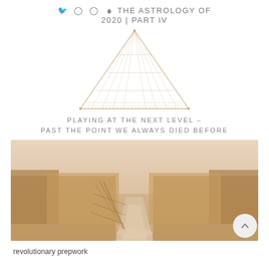THE ASTROLOGY OF 2020 | PART IV
[Figure (illustration): Geometric triangle/pyramid line art with golden/tan colored lines, dotted and solid, forming layered triangular patterns]
PLAYING AT THE NEXT LEVEL – PAST THE POINT WE ALWAYS DIED BEFORE
[Figure (photo): A sandy path leading through tall golden dry grass and dune reeds under a hazy sky, warm sepia tones]
revolutionary prepwork